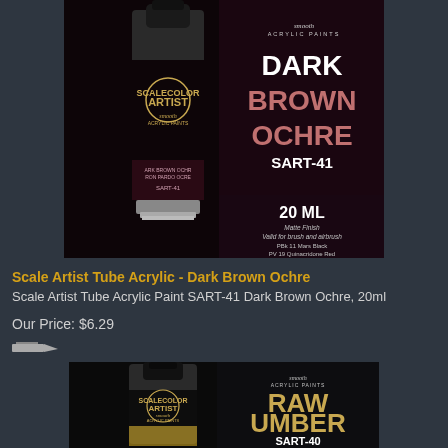[Figure (photo): Scalecolor Artist acrylic paint tube - Dark Brown Ochre SART-41, 20ml, showing product packaging with tube and label on dark background]
Scale Artist Tube Acrylic - Dark Brown Ochre
Scale Artist Tube Acrylic Paint SART-41 Dark Brown Ochre, 20ml
Our Price: $6.29
[Figure (photo): Scalecolor Artist acrylic paint tube - Raw Umber SART-40, showing product packaging with tube and label on dark background]